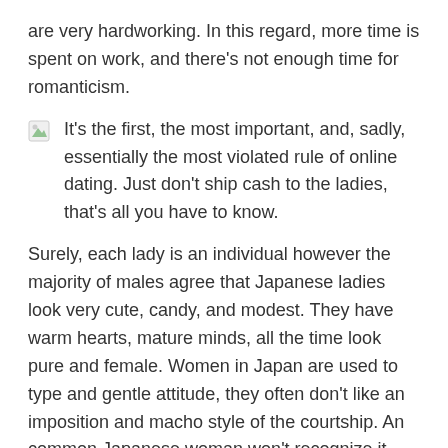are very hardworking. In this regard, more time is spent on work, and there’s not enough time for romanticism.
It’s the first, the most important, and, sadly, essentially the most violated rule of online dating. Just don’t ship cash to the ladies, that’s all you have to know.
Surely, each lady is an individual however the majority of males agree that Japanese ladies look very cute, candy, and modest. They have warm hearts, mature minds, all the time look pure and female. Women in Japan are used to type and gentle attitude, they often don’t like an imposition and macho style of the courtship. An common Japanese woman won’t recognize it should you stand and speak too near her. That is why you can think about your origin as a big benefit when relationship ladies from Japan.
Despite all the strictness the Japanese bride has been